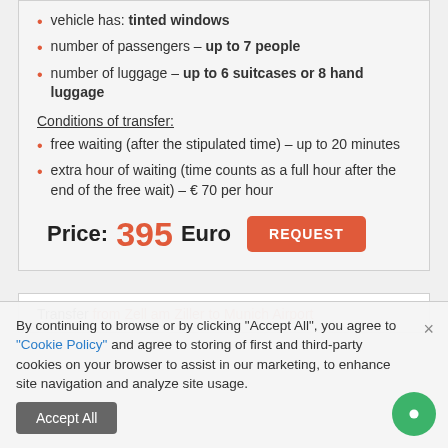vehicle has: tinted windows
number of passengers – up to 7 people
number of luggage – up to 6 suitcases or 8 hand luggage
Conditions of transfer:
free waiting (after the stipulated time) – up to 20 minutes
extra hour of waiting (time counts as a full hour after the end of the free wait) – € 70 per hour
Price: 395 Euro  REQUEST
Transfer from Zell am Ziller to Munich Airport
By continuing to browse or by clicking "Accept All", you agree to "Cookie Policy" and agree to storing of first and third-party cookies on your browser to assist in our marketing, to enhance site navigation and analyze site usage.